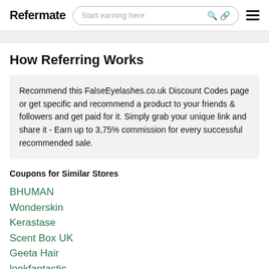Refermate | Start earning here
How Referring Works
Recommend this FalseEyelashes.co.uk Discount Codes page or get specific and recommend a product to your friends & followers and get paid for it. Simply grab your unique link and share it - Earn up to 3,75% commission for every successful recommended sale.
Coupons for Similar Stores
BHUMAN
Wonderskin
Kerastase
Scent Box UK
Geeta Hair
lookfantastic
DressLily.com